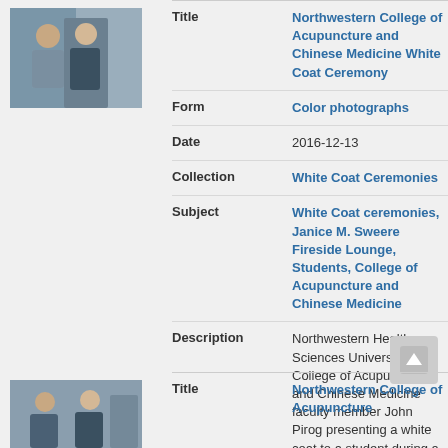[Figure (photo): Thumbnail photo of a white coat ceremony, two people visible]
| Field | Value |
| --- | --- |
| Title | Northwestern College of Acupuncture and Chinese Medicine White Coat Ceremony |
| Form | Color photographs |
| Date | 2016-12-13 |
| Collection | White Coat Ceremonies |
| Subject | White Coat ceremonies, Janice M. Sweere Fireside Lounge, Students, College of Acupuncture and Chinese Medicine |
| Description | Northwestern Health Sciences University's College of Acupuncture and Chinese Medicine faculty member John Pirog presenting a white coat to a student during a ceremony held in the fireside lounge on the Bloomington campus, 2016-12-13. |
| Copyright Status | copyrighted |
[Figure (photo): Thumbnail photo of a white coat ceremony, second record]
Title: Northwestern College of Acupuncture (second record, partial)